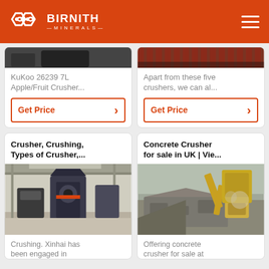BIRNITH MINERALS
KuKoo 26239 7L Apple/Fruit Crusher...
Get Price
Apart from these five crushers, we can al...
Get Price
Crusher, Crushing, Types of Crusher,...
[Figure (photo): Industrial crusher machinery in a factory warehouse]
Crushing. Xinhai has been engaged in
Concrete Crusher for sale in UK | Vie...
[Figure (photo): Concrete crusher attachment on excavator breaking concrete]
Offering concrete crusher for sale at